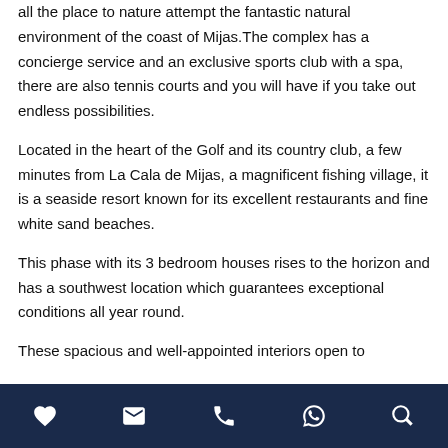all the place to nature attempt the fantastic natural environment of the coast of Mijas. The complex has a concierge service and an exclusive sports club with a spa, there are also tennis courts and you will have if you take out endless possibilities.
Located in the heart of the Golf and its country club, a few minutes from La Cala de Mijas, a magnificent fishing village, it is a seaside resort known for its excellent restaurants and fine white sand beaches.
This phase with its 3 bedroom houses rises to the horizon and has a southwest location which guarantees exceptional conditions all year round.
These spacious and well-appointed interiors open to
[icons: heart, email, phone, whatsapp, search]